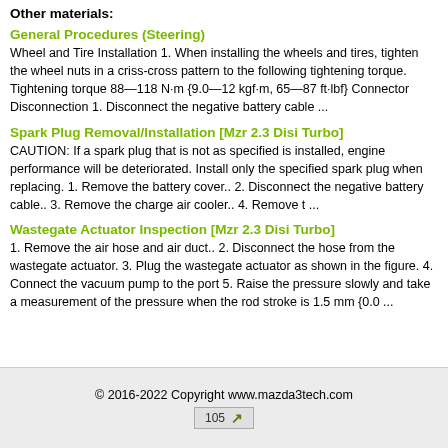Other materials:
General Procedures (Steering)
Wheel and Tire Installation 1. When installing the wheels and tires, tighten the wheel nuts in a criss-cross pattern to the following tightening torque. Tightening torque 88—118 N·m {9.0—12 kgf·m, 65—87 ft·lbf} Connector Disconnection 1. Disconnect the negative battery cable ...
Spark Plug Removal/Installation [Mzr 2.3 Disi Turbo]
CAUTION: If a spark plug that is not as specified is installed, engine performance will be deteriorated. Install only the specified spark plug when replacing. 1. Remove the battery cover.. 2. Disconnect the negative battery cable.. 3. Remove the charge air cooler.. 4. Remove t ...
Wastegate Actuator Inspection [Mzr 2.3 Disi Turbo]
1. Remove the air hose and air duct.. 2. Disconnect the hose from the wastegate actuator. 3. Plug the wastegate actuator as shown in the figure. 4. Connect the vacuum pump to the port 5. Raise the pressure slowly and take a measurement of the pressure when the rod stroke is 1.5 mm {0.0 ...
© 2016-2022 Copyright www.mazda3tech.com